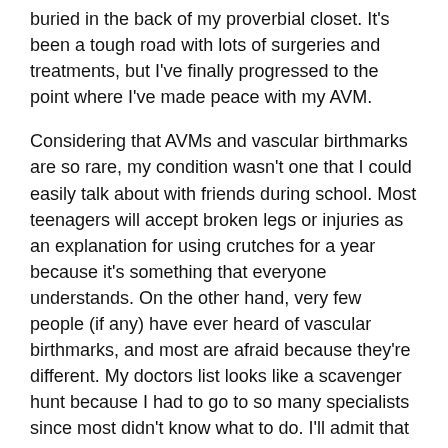buried in the back of my proverbial closet. It's been a tough road with lots of surgeries and treatments, but I've finally progressed to the point where I've made peace with my AVM.
Considering that AVMs and vascular birthmarks are so rare, my condition wasn't one that I could easily talk about with friends during school. Most teenagers will accept broken legs or injuries as an explanation for using crutches for a year because it's something that everyone understands. On the other hand, very few people (if any) have ever heard of vascular birthmarks, and most are afraid because they're different. My doctors list looks like a scavenger hunt because I had to go to so many specialists since most didn't know what to do. I'll admit that I was very afraid because I had never even heard of an AVM before being diagnosed. I was scared when I found out I had one. I was never a sickly child and never expected to go to a hospital and have surgeries at such a young age.
Additionally, very few people could give me a definitive answer of any sort about what was going on. One person would tell me I had cancer, and the next would